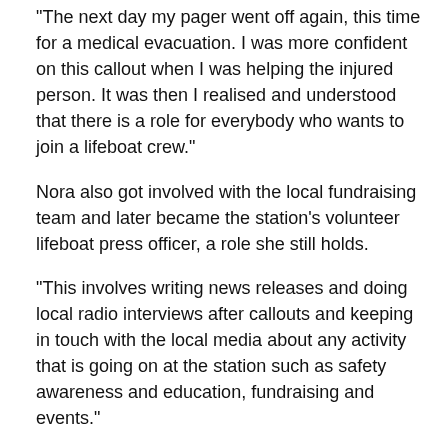“The next day my pager went off again, this time for a medical evacuation. I was more confident on this callout when I was helping the injured person. It was then I realised and understood that there is a role for everybody who wants to join a lifeboat crew.”
Nora also got involved with the local fundraising team and later became the station’s volunteer lifeboat press officer, a role she still holds.
“This involves writing news releases and doing local radio interviews after callouts and keeping in touch with the local media about any activity that is going on at the station such as safety awareness and education, fundraising and events.”
One of the highlights over the years was a visit to the RNLI College in Poole, where Nora was asked to represent the RNLI in Ireland for the launch of Volunteer Spirit, a lifeboat which was funded by selling badges.